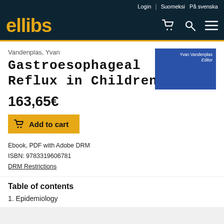Login | Suomeksi  På svenska
[Figure (logo): Ellibs logo in yellow on dark navy background with cart, search, and menu icons]
Vandenplas, Yvan
Gastroesophageal Reflux in Children
[Figure (photo): Book cover thumbnail showing 'Yvan Vandenplas Editor' on blue background]
163,65€
Add to cart
Ebook, PDF with Adobe DRM
ISBN: 9783319606781
DRM Restrictions
Table of contents
1. Epidemiology